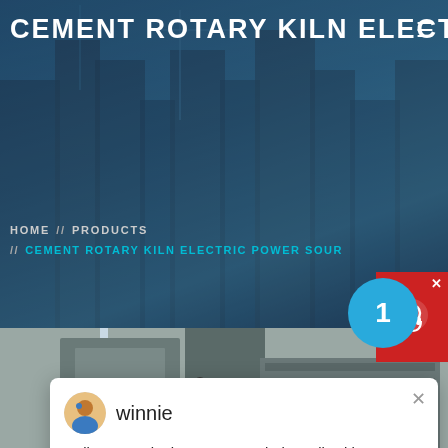CEMENT ROTARY KILN ELECTRI
HOME // PRODUCTS
// CEMENT ROTARY KILN ELECTRIC POWER SOUR
winnie
Hello, I am winnie, I am very glad to talk with you!
[Figure (screenshot): Industrial cement plant machinery photo at bottom of page]
1